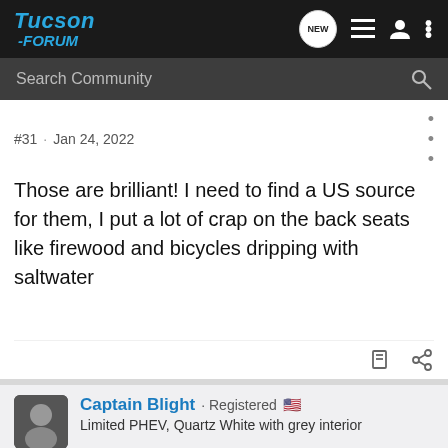Tucson -FORUM
Search Community
#31 · Jan 24, 2022
Those are brilliant! I need to find a US source for them, I put a lot of crap on the back seats like firewood and bicycles dripping with saltwater
Captain Blight · Registered 🇺🇸
Limited PHEV, Quartz White with grey interior
[Figure (screenshot): Advertisement banner for Nitto All-New Nomad Grappler Crossover-Terrain Tire]
#32 · Jan